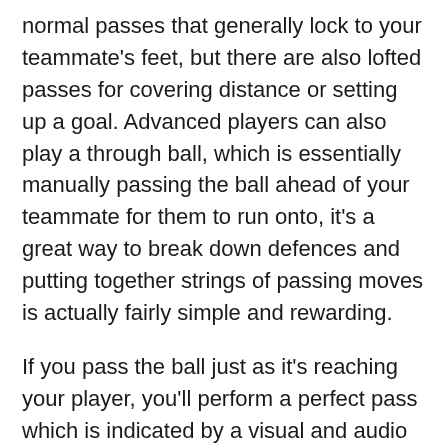normal passes that generally lock to your teammate's feet, but there are also lofted passes for covering distance or setting up a goal. Advanced players can also play a through ball, which is essentially manually passing the ball ahead of your teammate for them to run onto, it's a great way to break down defences and putting together strings of passing moves is actually fairly simple and rewarding.
If you pass the ball just as it's reaching your player, you'll perform a perfect pass which is indicated by a visual and audio cue, doing so will increase the accuracy and power of the pass. This timing-based system of perfect moves applies to almost all of your arsenal. Tackles can be perfectly timed, as can shots. Nailing this timing and keeping up a good tempo of turning over possession is key.
Each character also has a signature move known as a hyper